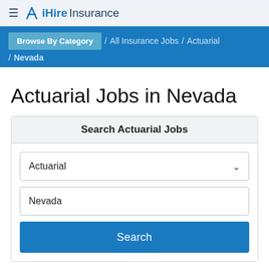iHireInsurance
Browse By Category / All Insurance Jobs / Actuarial / Nevada
Actuarial Jobs in Nevada
Search Actuarial Jobs
Actuarial
Nevada
Search